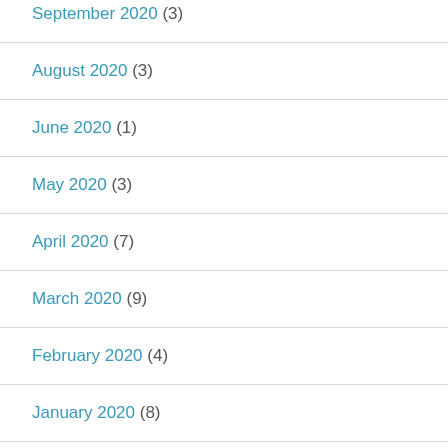September 2020 (3)
August 2020 (3)
June 2020 (1)
May 2020 (3)
April 2020 (7)
March 2020 (9)
February 2020 (4)
January 2020 (8)
December 2019 (11)